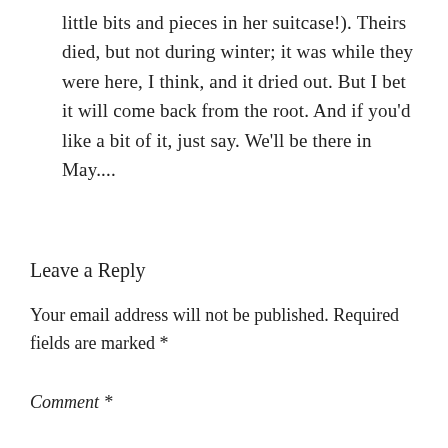little bits and pieces in her suitcase!). Theirs died, but not during winter; it was while they were here, I think, and it dried out. But I bet it will come back from the root. And if you'd like a bit of it, just say. We'll be there in May....
Leave a Reply
Your email address will not be published. Required fields are marked *
Comment *